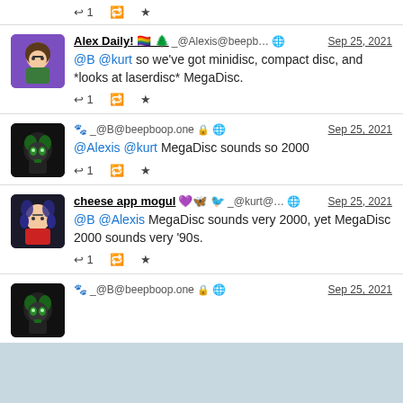↩ 1  🔁  ★ (top action bar)
Alex Daily! 🏳️‍🌈 🌲 _@Alexis@beepb... · Sep 25, 2021
@B @kurt so we've got minidisc, compact disc, and *looks at laserdisc* MegaDisc.
↩ 1  🔁  ★
🐾 _@B@beepboop.one 🔒 · Sep 25, 2021
@Alexis @kurt MegaDisc sounds so 2000
↩ 1  🔁  ★
cheese app mogul 💜🦋 🐦 _@kurt@... · Sep 25, 2021
@B @Alexis MegaDisc sounds very 2000, yet MegaDisc 2000 sounds very '90s.
↩ 1  🔁  ★
🐾 _@B@beepboop.one 🔒 · Sep 25, 2021